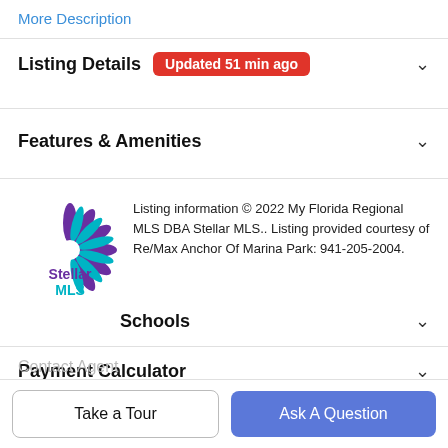More Description
Listing Details  Updated 51 min ago
Features & Amenities
Listing information © 2022 My Florida Regional MLS DBA Stellar MLS.. Listing provided courtesy of Re/Max Anchor Of Marina Park: 941-205-2004.
Schools
Payment Calculator
Contact Agent
Take a Tour
Ask A Question